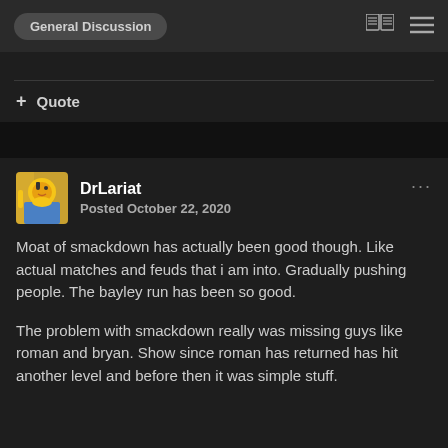General Discussion
+ Quote
DrLariat
Posted October 22, 2020
Moat of smackdown has actually been good though. Like actual matches and feuds that i am into. Gradually pushing people. The bayley run has been so good.
The problem with smackdown really was missing guys like roman and bryan. Show since roman has returned has hit another level and before then it was simple stuff.